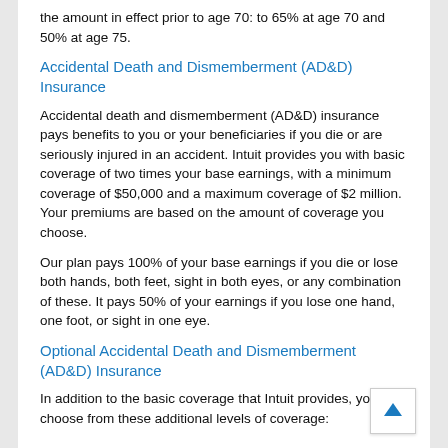the amount in effect prior to age 70: to 65% at age 70 and 50% at age 75.
Accidental Death and Dismemberment (AD&D) Insurance
Accidental death and dismemberment (AD&D) insurance pays benefits to you or your beneficiaries if you die or are seriously injured in an accident. Intuit provides you with basic coverage of two times your base earnings, with a minimum coverage of $50,000 and a maximum coverage of $2 million. Your premiums are based on the amount of coverage you choose.
Our plan pays 100% of your base earnings if you die or lose both hands, both feet, sight in both eyes, or any combination of these. It pays 50% of your earnings if you lose one hand, one foot, or sight in one eye.
Optional Accidental Death and Dismemberment (AD&D) Insurance
In addition to the basic coverage that Intuit provides, you can choose from these additional levels of coverage: